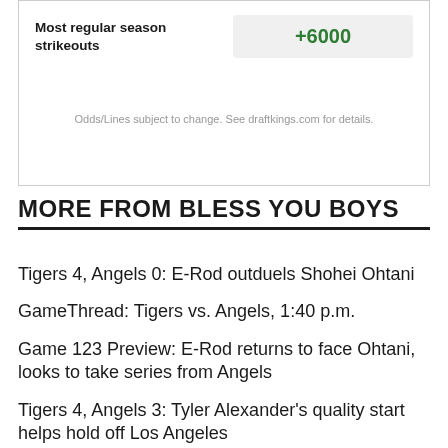| Category | Odds |
| --- | --- |
| Most regular season strikeouts | +6000 |
Odds/Lines subject to change. See draftkings.com for details.
MORE FROM BLESS YOU BOYS
Tigers 4, Angels 0: E-Rod outduels Shohei Ohtani
GameThread: Tigers vs. Angels, 1:40 p.m.
Game 123 Preview: E-Rod returns to face Ohtani, looks to take series from Angels
Tigers 4, Angels 3: Tyler Alexander's quality start helps hold off Los Angeles
GameThread: Tigers vs. Angels, 1:10 p.m.
Game 122 Preview: Tigers look to even series vs. Angels on Saturday